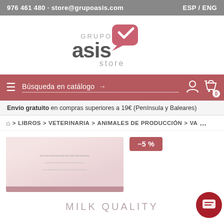976 461 480 · store@grupoasis.com   ESP / ENG
[Figure (logo): Grupo ASIS Store logo with pink speech bubble check mark and grey 'asis store' text]
Búsqueda en catálogo →
Envío gratuito en compras superiores a 19€ (Península y Baleares)
🏠 > LIBROS > VETERINARIA > ANIMALES DE PRODUCCIÓN > VA...
[Figure (photo): Product book cover image placeholder, pinkish background]
-5%
MILK QUALITY